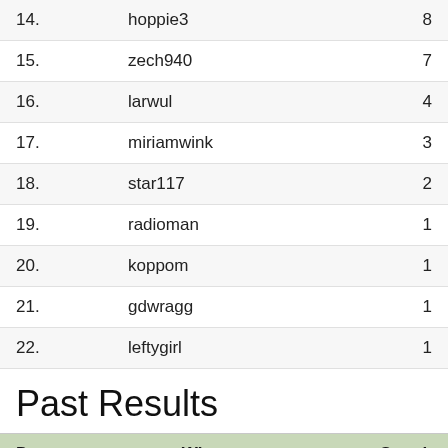| Rank | Username | Score |
| --- | --- | --- |
| 14. | hoppie3 | 8 |
| 15. | zech940 | 7 |
| 16. | larwul | 4 |
| 17. | miriamwink | 3 |
| 18. | star117 | 2 |
| 19. | radioman | 1 |
| 20. | koppom | 1 |
| 21. | gdwragg | 1 |
| 22. | leftygirl | 1 |
Past Results
| Date | Winner | Streak |
| --- | --- | --- |
| 1/22/2018 | goldiekoi | 142 |